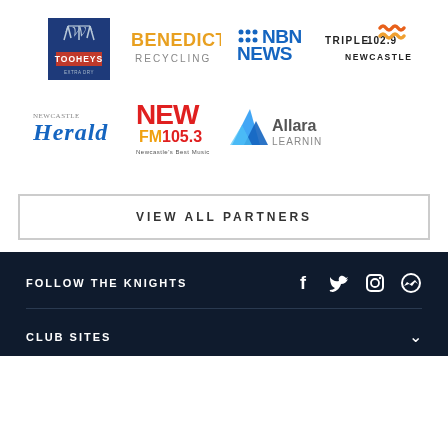[Figure (logo): Tooheys logo - dark blue background with antlers and red banner]
[Figure (logo): Benedict Recycling logo - yellow and grey text]
[Figure (logo): NBN News logo - blue dots and text]
[Figure (logo): Triple M 102.9 Newcastle logo with orange waves]
[Figure (logo): Newcastle Herald logo - blue serif text]
[Figure (logo): New FM 105.3 logo - red and yellow text]
[Figure (logo): Allara Learning logo - blue triangle and text]
VIEW ALL PARTNERS
FOLLOW THE KNIGHTS
CLUB SITES